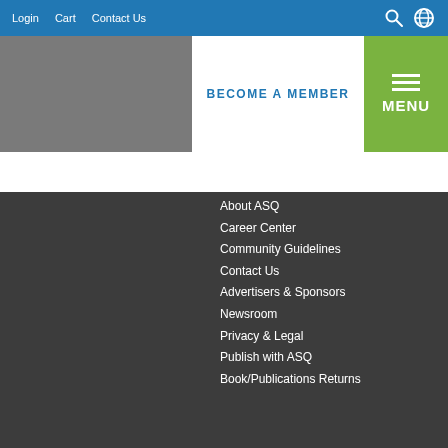Login  Cart  Contact Us
BECOME A MEMBER
MENU
About ASQ
Career Center
Community Guidelines
Contact Us
Advertisers & Sponsors
Newsroom
Privacy & Legal
Publish with ASQ
Book/Publications Returns